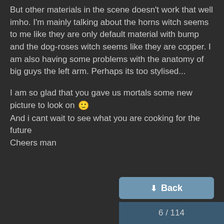But other materials in the scene doesn't work that well imho. I'm mainly talking about the horns witch seems to me like they are only default material with bump and the dog-roses witch seems like they are copper. I am also having some problems with the anatomy of big guys the left arm. Perhaps its too stylised...
I am so glad that you gave us mortals some new picture to look on 🙂
And i cant wait to see what you are cooking for the future
Cheers man
6 / 114